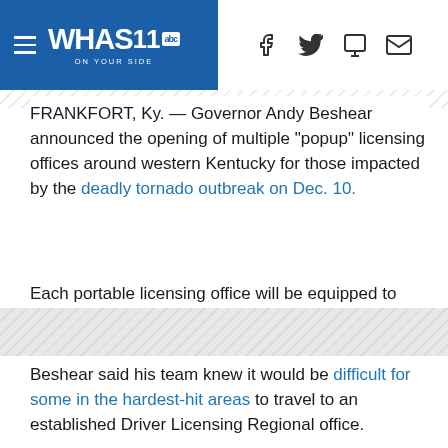WHAS11 abc ON YOUR SIDE
FRANKFORT, Ky. — Governor Andy Beshear announced the opening of multiple "popup" licensing offices around western Kentucky for those impacted by the deadly tornado outbreak on Dec. 10.
Each portable licensing office will be equipped to issue operator licenses, permits and state IDs-- a "critical service," Beshear said, for Kentuckians who lost their identification credentials when tornadoes ripped through western Kentucky.
Beshear said his team knew it would be difficult for some in the hardest-hit areas to travel to an established Driver Licensing Regional office.